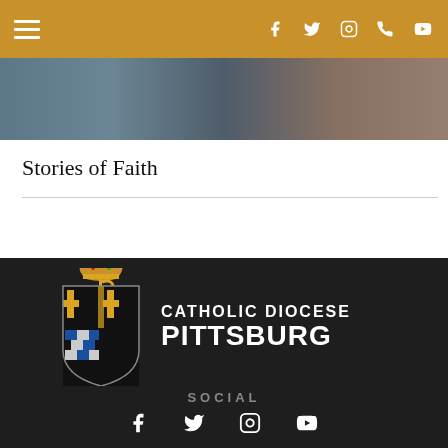Navigation bar with hamburger menu and social icons (Facebook, Twitter, Instagram, Phone, YouTube)
[Figure (photo): Partial photo strip showing people in the background]
Stories of Faith
[Figure (logo): Catholic Diocese of Pittsburgh coat of arms logo with text CATHOLIC DIOCESE PITTSBURGH]
SOCIAL
Social media icons: Facebook, Twitter, Instagram, YouTube